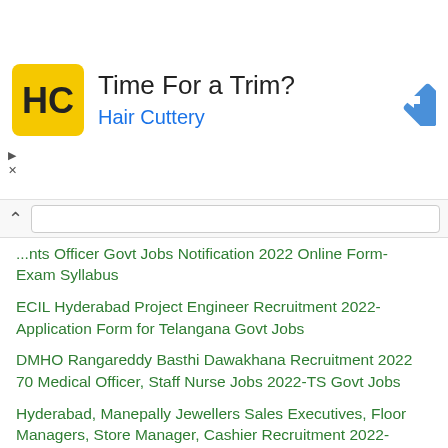[Figure (infographic): Advertisement banner for Hair Cuttery with yellow HC logo, text 'Time For a Trim?' and 'Hair Cuttery' in blue, and a blue diamond-shaped navigation icon on the right.]
...nts Officer Govt Jobs Notification 2022 Online Form- Exam Syllabus
ECIL Hyderabad Project Engineer Recruitment 2022- Application Form for Telangana Govt Jobs
DMHO Rangareddy Basthi Dawakhana Recruitment 2022 70 Medical Officer, Staff Nurse Jobs 2022-TS Govt Jobs
Hyderabad, Manepally Jewellers Sales Executives, Floor Managers, Store Manager, Cashier Recruitment 2022- Walk in Interview for 138 Posts
DMHO Warangal Basthi Dawakhana Recruitment 2022 Medical Officer, Staff Nurse, Supporting Staff Jobs 2022-TS Govt Jobs